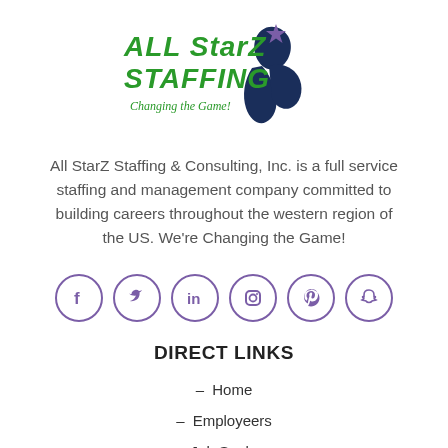[Figure (logo): All StarZ Staffing logo with green text, purple star, navy blue swoosh/person figure, and tagline 'Changing the Game!']
All StarZ Staffing & Consulting, Inc. is a full service staffing and management company committed to building careers throughout the western region of the US. We're Changing the Game!
[Figure (infographic): Six social media icons in purple circles: Facebook, Twitter, LinkedIn, Instagram, Pinterest, Snapchat]
DIRECT LINKS
– Home
– Employeers
– Job Seekers
– Field Staff